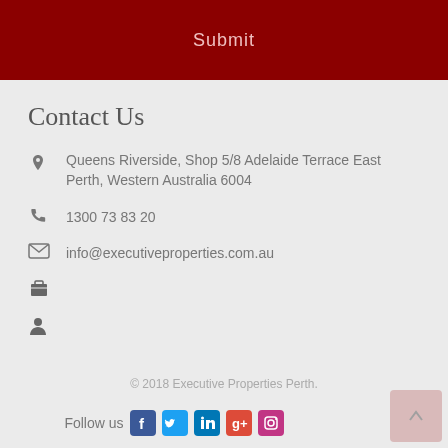Submit
Contact Us
Queens Riverside, Shop 5/8 Adelaide Terrace East Perth, Western Australia 6004
1300 73 83 20
info@executiveproperties.com.au
© 2018 Executive Properties Perth.
Follow us